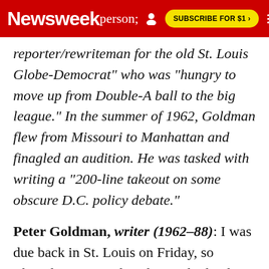Newsweek | SUBSCRIBE FOR $1 >
reporter/rewriteman for the old St. Louis Globe-Democrat" who was "hungry to move up from Double-A ball to the big league." In the summer of 1962, Goldman flew from Missouri to Manhattan and finagled an audition. He was tasked with writing a "200-line takeout on some obscure D.C. policy debate."
Peter Goldman, writer (1962–88): I was due back in St. Louis on Friday, so Thursday was my last day, and I'd only written a couple of paragraphs when Bill Roeder, the Newsmaker